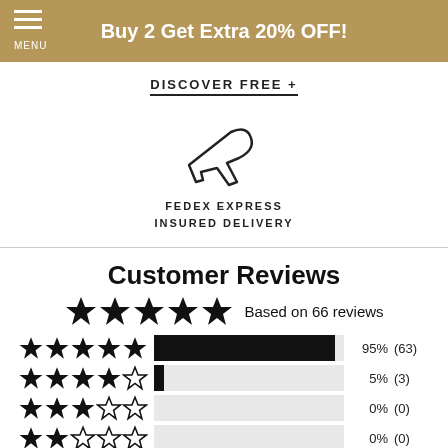Buy 2 Get Extra 20% OFF!
DISCOVER FREE +
[Figure (illustration): Airplane/flight icon outline illustration for FedEx Express Insured Delivery]
FEDEX EXPRESS
INSURED DELIVERY
Customer Reviews
Based on 66 reviews
| Stars | Bar | Percent | Count |
| --- | --- | --- | --- |
| 5 stars | 95% | 95% | (63) |
| 4 stars | 5% | 5% | (3) |
| 3 stars | 0% | 0% | (0) |
| 2 stars | 0% | 0% | (0) |
| 1 star | 0% | 0% | (0) |